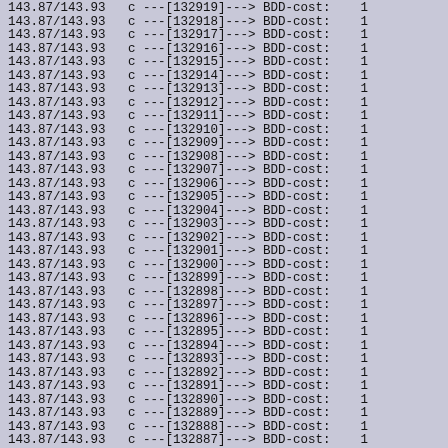143.87/143.93   c ---[132919]---> BDD-cost:    1
143.87/143.93   c ---[132918]---> BDD-cost:    1
143.87/143.93   c ---[132917]---> BDD-cost:    1
143.87/143.93   c ---[132916]---> BDD-cost:    1
143.87/143.93   c ---[132915]---> BDD-cost:    1
143.87/143.93   c ---[132914]---> BDD-cost:    1
143.87/143.93   c ---[132913]---> BDD-cost:    1
143.87/143.93   c ---[132912]---> BDD-cost:    1
143.87/143.93   c ---[132911]---> BDD-cost:    1
143.87/143.93   c ---[132910]---> BDD-cost:    1
143.87/143.93   c ---[132909]---> BDD-cost:    1
143.87/143.93   c ---[132908]---> BDD-cost:    1
143.87/143.93   c ---[132907]---> BDD-cost:    1
143.87/143.93   c ---[132906]---> BDD-cost:    1
143.87/143.93   c ---[132905]---> BDD-cost:    1
143.87/143.93   c ---[132904]---> BDD-cost:    1
143.87/143.93   c ---[132903]---> BDD-cost:    1
143.87/143.93   c ---[132902]---> BDD-cost:    1
143.87/143.93   c ---[132901]---> BDD-cost:    1
143.87/143.93   c ---[132900]---> BDD-cost:    1
143.87/143.93   c ---[132899]---> BDD-cost:    1
143.87/143.93   c ---[132898]---> BDD-cost:    1
143.87/143.93   c ---[132897]---> BDD-cost:    1
143.87/143.93   c ---[132896]---> BDD-cost:    1
143.87/143.93   c ---[132895]---> BDD-cost:    1
143.87/143.93   c ---[132894]---> BDD-cost:    1
143.87/143.93   c ---[132893]---> BDD-cost:    1
143.87/143.93   c ---[132892]---> BDD-cost:    1
143.87/143.93   c ---[132891]---> BDD-cost:    1
143.87/143.93   c ---[132890]---> BDD-cost:    1
143.87/143.93   c ---[132889]---> BDD-cost:    1
143.87/143.93   c ---[132888]---> BDD-cost:    1
143.87/143.93   c ---[132887]---> BDD-cost:    1